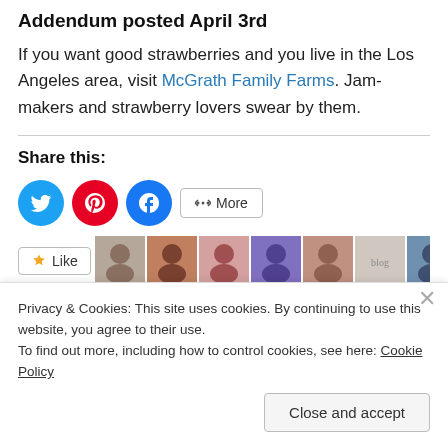Addendum posted April 3rd
If you want good strawberries and you live in the Los Angeles area, visit McGrath Family Farms. Jam-makers and strawberry lovers swear by them.
Share this:
[Figure (infographic): Social share buttons: Twitter (blue circle), Pinterest (red circle), Facebook (blue circle), and a More button]
[Figure (infographic): Like button with star icon followed by a strip of user avatar photos]
29 bloggers like this.
Privacy & Cookies: This site uses cookies. By continuing to use this website, you agree to their use.
To find out more, including how to control cookies, see here: Cookie Policy